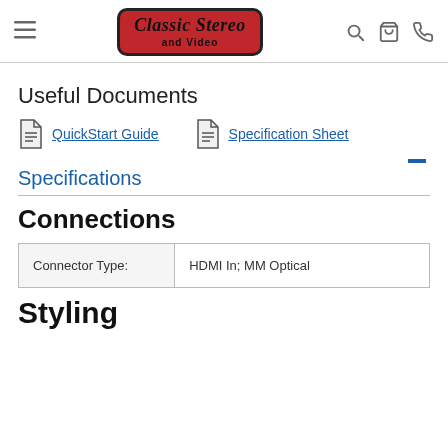Classic Stereo and Video — navigation header
Useful Documents
QuickStart Guide | Specification Sheet
Specifications
Connections
| Connector Type: |  |
| --- | --- |
| Connector Type: | HDMI In; MM Optical |
Styling